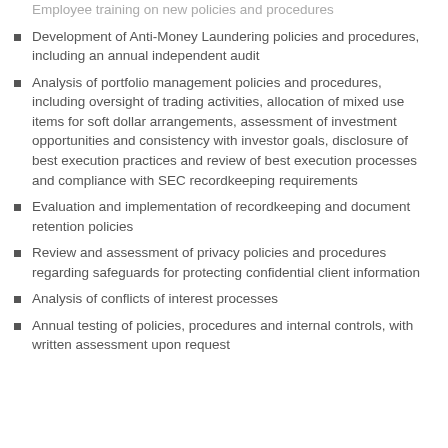Employee training on new policies and procedures
Development of Anti-Money Laundering policies and procedures, including an annual independent audit
Analysis of portfolio management policies and procedures, including oversight of trading activities, allocation of mixed use items for soft dollar arrangements, assessment of investment opportunities and consistency with investor goals, disclosure of best execution practices and review of best execution processes and compliance with SEC recordkeeping requirements
Evaluation and implementation of recordkeeping and document retention policies
Review and assessment of privacy policies and procedures regarding safeguards for protecting confidential client information
Analysis of conflicts of interest processes
Annual testing of policies, procedures and internal controls, with written assessment upon request